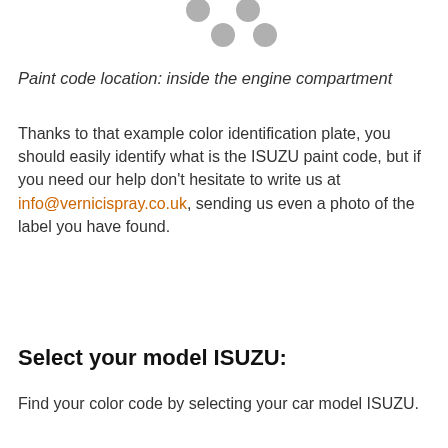[Figure (illustration): Decorative dots/circles in gray color arranged in a loose cluster at the top of the page]
Paint code location: inside the engine compartment
Thanks to that example color identification plate, you should easily identify what is the ISUZU paint code, but if you need our help don't hesitate to write us at info@vernicispray.co.uk, sending us even a photo of the label you have found.
Select your model ISUZU:
Find your color code by selecting your car model ISUZU.